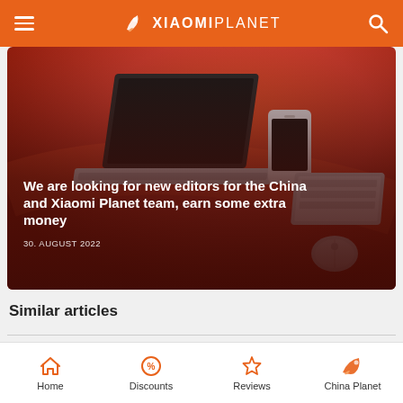XIAOMIPLANET
[Figure (photo): Article card with orange-red gradient background showing a laptop, smartphone, keyboard and mouse on an orange desk surface. Title overlaid: 'We are looking for new editors for the China and Xiaomi Planet team, earn some extra money'. Date: 30. AUGUST 2022]
We are looking for new editors for the China and Xiaomi Planet team, earn some extra money
30. AUGUST 2022
Similar articles
Home | Discounts | Reviews | China Planet